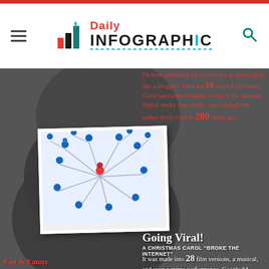[Figure (logo): Daily Infographic website logo with hamburger menu and search icon]
Dickens published his first works as serials (just like a blogger). Here are 10 ways A Christmas Carol (and other Dickens' work) is the ultimate digital media case study – even though the author lived close to 200 years ago.
[Figure (illustration): Network diagram showing blue user icons connected by lines with one red central node]
Going Viral! A Christmas Carol "broke the Internet"
It was made into 28 film versions, a musical, and even a mime performance. Google "A Christmas Carol" – almost 70 million hits.
New Lexicon
Dickens' catchphrases are in Urban Dictionary
Bah Humbug & Scrooge
[Figure (illustration): Speech bubbles illustration with overlapping circles and squares]
[Figure (photo): Small white ghost/penguin figurines on dark background]